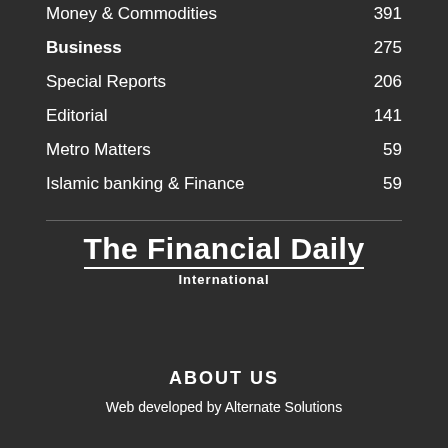Money & Commodities  391
Business  275
Special Reports  206
Editorial  141
Metro Matters  59
Islamic banking & Finance  59
[Figure (logo): The Financial Daily International logo with bold white text and underline]
ABOUT US
Web developed by Alternate Solutions